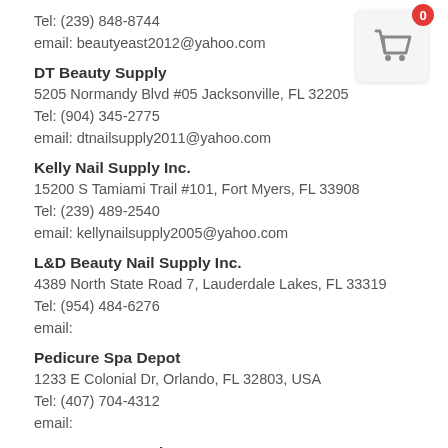Tel: (239) 848-8744
email: beautyeast2012@yahoo.com
DT Beauty Supply
5205 Normandy Blvd #05 Jacksonville, FL 32205
Tel: (904) 345-2775
email: dtnailsupply2011@yahoo.com
Kelly Nail Supply Inc.
15200 S Tamiami Trail #101, Fort Myers, FL 33908
Tel: (239) 489-2540
email: kellynailsupply2005@yahoo.com
L&D Beauty Nail Supply Inc.
4389 North State Road 7, Lauderdale Lakes, FL 33319
Tel: (954) 484-6276
email:
Pedicure Spa Depot
1233 E Colonial Dr, Orlando, FL 32803, USA
Tel: (407) 704-4312
email:
Pro Beauty Supply
[Figure (other): Shopping cart icon with red badge showing 0]